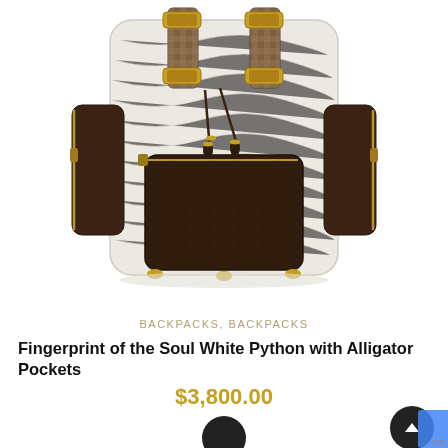[Figure (photo): A luxury backpack with white python leather body, dark brown alligator leather front pocket and side pockets, gold hardware buckles and zippers, patterned leather straps with gold buckles, and tassel drawstring closure at top. Photographed from the front on a white background.]
BACKPACKS, BACKPACKS
Fingerprint of the Soul White Python with Alligator Pockets
$3,800.00